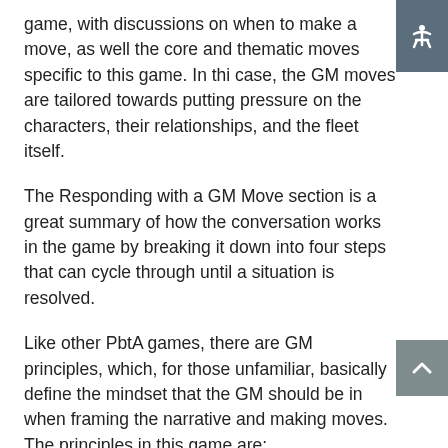game, with discussions on when to make a move, as well the core and thematic moves specific to this game. In this case, the GM moves are tailored towards putting pressure on the characters, their relationships, and the fleet itself.
The Responding with a GM Move section is a great summary of how the conversation works in the game by breaking it down into four steps that can cycle through until a situation is resolved.
Like other PbtA games, there are GM principles, which, for those unfamiliar, basically define the mindset that the GM should be in when framing the narrative and making moves. The principles in this game are:
No mercy
Make space for interpersonal drama
Make them care
Everyone is up to something